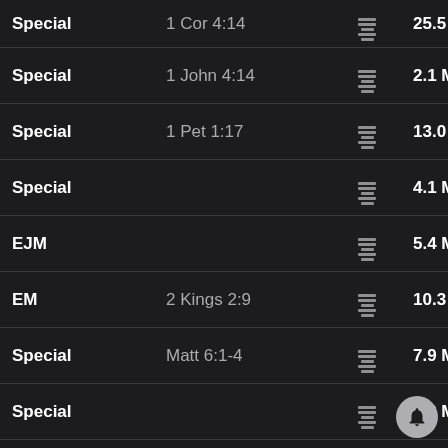| Type | Reference | Icon | Size |
| --- | --- | --- | --- |
| Special | 1 Cor 4:14 | [icon] | 25.5 MB |
| Special | 1 John 4:14 | [icon] | 2.1 MB |
| Special | 1 Pet 1:17 | [icon] | 13.0 MB |
| Special |  | [icon] | 4.1 MB |
| EJM |  | [icon] | 5.4 MB |
| EM | 2 Kings 2:9 | [icon] | 10.3 MB |
| Special | Matt 6:1-4 | [icon] | 7.9 MB |
| Special |  | [icon] | 5.2 MB |
| Special |  | [icon] | 18.8 MB |
| Special |  | [icon] | 4.8 MB |
| PR |  | [icon] | 72.6 MB |